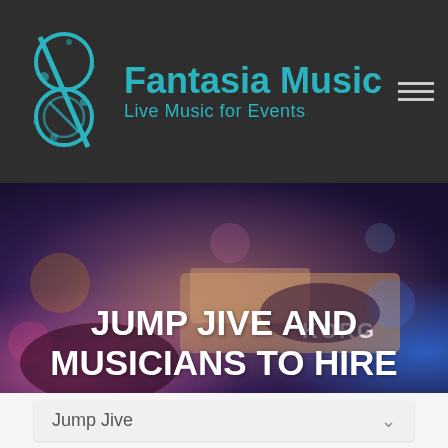[Figure (logo): Fantasia Music logo: stylized treble clef / musical note design in teal/cyan color on dark background, next to brand name text]
Fantasia Music
Live Music for Events
[Figure (photo): Blurred concert/musician photo showing a keyboard instrument (Korg) with colorful stage lighting — purple, pink, blue and orange tones]
JUMP JIVE AND MUSICIANS TO HIRE
Jump Jive